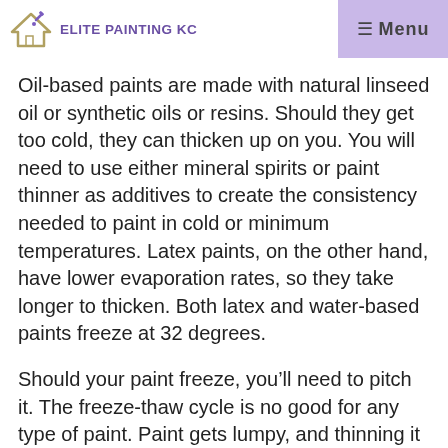Elite Painting KC  ≡ Menu
Oil-based paints are made with natural linseed oil or synthetic oils or resins. Should they get too cold, they can thicken up on you. You will need to use either mineral spirits or paint thinner as additives to create the consistency needed to paint in cold or minimum temperatures. Latex paints, on the other hand, have lower evaporation rates, so they take longer to thicken. Both latex and water-based paints freeze at 32 degrees.
Should your paint freeze, you'll need to pitch it. The freeze-thaw cycle is no good for any type of paint. Paint gets lumpy, and thinning it won't help if it has been through too many freeze cycles. At this point, thinning will just result in poor adhesion, low paint quality, and film...